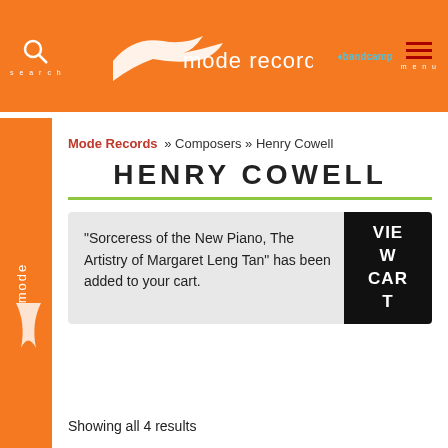mode records — search, bandcamp, menu
Mode Records » Composers » Henry Cowell
HENRY COWELL
"Sorceress of the New Piano, The Artistry of Margaret Leng Tan" has been added to your cart.
VIEW CART
Showing all 4 results